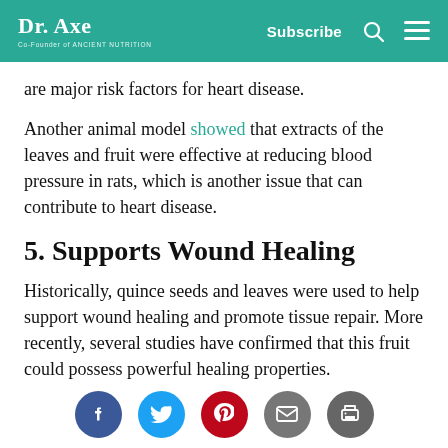Dr. Axe — Co-Founder of Ancient Nutrition | Subscribe
are major risk factors for heart disease.
Another animal model showed that extracts of the leaves and fruit were effective at reducing blood pressure in rats, which is another issue that can contribute to heart disease.
5. Supports Wound Healing
Historically, quince seeds and leaves were used to help support wound healing and promote tissue repair. More recently, several studies have confirmed that this fruit could possess powerful healing properties.
Social share icons: Facebook, Twitter, Pinterest, Email, Print